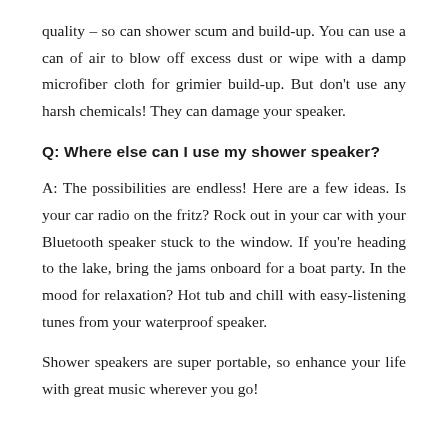quality – so can shower scum and build-up. You can use a can of air to blow off excess dust or wipe with a damp microfiber cloth for grimier build-up. But don't use any harsh chemicals! They can damage your speaker.
Q: Where else can I use my shower speaker?
A: The possibilities are endless! Here are a few ideas. Is your car radio on the fritz? Rock out in your car with your Bluetooth speaker stuck to the window. If you're heading to the lake, bring the jams onboard for a boat party. In the mood for relaxation? Hot tub and chill with easy-listening tunes from your waterproof speaker.
Shower speakers are super portable, so enhance your life with great music wherever you go!